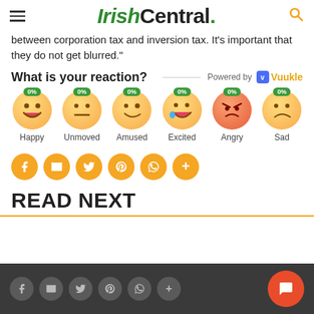IrishCentral.
between corporation tax and inversion tax. It’s important that they do not get blurred.”
What is your reaction?
[Figure (infographic): Vuukle reaction widget with six emoji faces: Happy 0%, Unmoved 0%, Amused 0%, Excited 0%, Angry 0%, Sad 0%]
[Figure (infographic): Social share buttons row: Facebook, Email, Twitter, Pinterest, WhatsApp, More]
READ NEXT
[Figure (infographic): Bottom bar with social share buttons and comment FAB button]